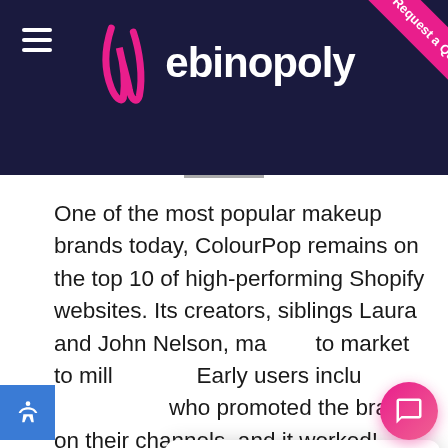[Figure (logo): Webinopoly website header with dark navy background, hamburger menu icon on left, Webinopoly logo in center with pink cursive W mark, and pink 'Request a Quote' diagonal ribbon banner in top right corner]
One of the most popular makeup brands today, ColourPop remains on the top 10 of high-performing Shopify websites. Its creators, siblings Laura and John Nelson, ma[de it] to market to mill[ennials]. Early users inclu[ded influencers] who promoted the brand on their channels, and it worked! Well. ColourPop's Instagram account has no[w]
[Figure (screenshot): Chat popup widget showing Webinopoly pink W logo mark with text 'Have any questions? Happy to help!' and a close X button, plus a pink circular chat bubble button in bottom right corner]